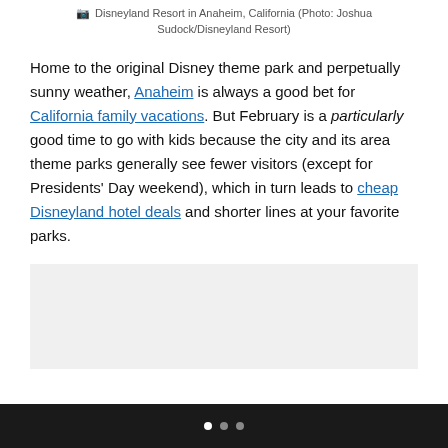Disneyland Resort in Anaheim, California (Photo: Joshua Sudock/Disneyland Resort)
Home to the original Disney theme park and perpetually sunny weather, Anaheim is always a good bet for California family vacations. But February is a particularly good time to go with kids because the city and its area theme parks generally see fewer visitors (except for Presidents' Day weekend), which in turn leads to cheap Disneyland hotel deals and shorter lines at your favorite parks.
[Figure (other): Advertisement placeholder box]
Navigation dots